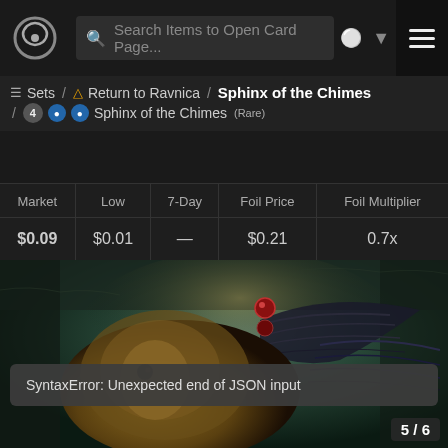Search Items to Open Card Page...
Sets / Return to Ravnica / Sphinx of the Chimes / 4UU Sphinx of the Chimes (Rare)
| Market | Low | 7-Day | Foil Price | Foil Multiplier |
| --- | --- | --- | --- | --- |
| $0.09 | $0.01 | — | $0.21 | 0.7x |
[Figure (illustration): Dark fantasy card art showing a sphinx creature with lion body and dark wings in a stone dungeon environment]
SyntaxError: Unexpected end of JSON input
5 / 6